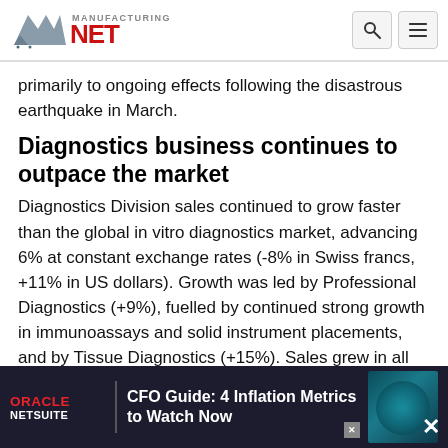Manufacturing.net
primarily to ongoing effects following the disastrous earthquake in March.
Diagnostics business continues to outpace the market
Diagnostics Division sales continued to grow faster than the global in vitro diagnostics market, advancing 6% at constant exchange rates (-8% in Swiss francs, +11% in US dollars). Growth was led by Professional Diagnostics (+9%), fuelled by continued strong growth in immunoassays and solid instrument placements, and by Tissue Diagnostics (+15%). Sales grew in all regions, with the largest gains in... reflect...
[Figure (other): Oracle NetSuite advertisement banner: 'CFO Guide: 4 Inflation Metrics to Watch Now']